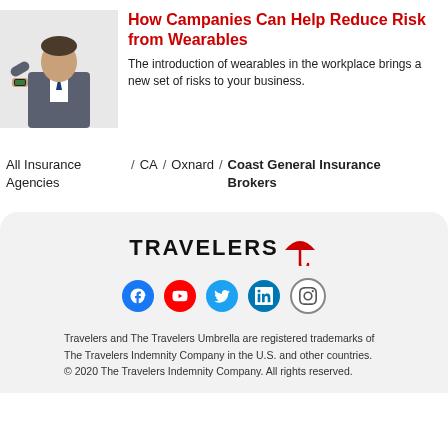[Figure (photo): Man in suit checking smartwatch on wrist]
How Campanies Can Help Reduce Risk from Wearables
The introduction of wearables in the workplace brings a new set of risks to your business.
All Insurance Agencies / CA / Oxnard / Coast General Insurance Brokers
[Figure (logo): Travelers Insurance logo with red umbrella]
[Figure (infographic): Social media icons: Facebook, YouTube, Twitter, LinkedIn, Instagram]
Travelers and The Travelers Umbrella are registered trademarks of The Travelers Indemnity Company in the U.S. and other countries.
© 2020 The Travelers Indemnity Company. All rights reserved.